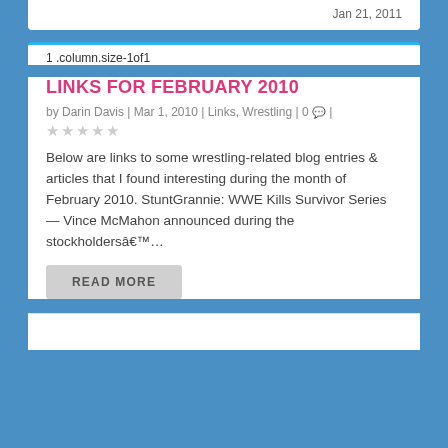Jan 21, 2011
1 .column.size-1of1
LINKS FOR FEBRUARY 2010
by Darin Davis | Mar 1, 2010 | Links, Wrestling | 0 |
★★★★★
Below are links to some wrestling-related blog entries & articles that I found interesting during the month of February 2010. StuntGrannie: WWE Kills Survivor Series — Vince McMahon announced during the stockholdersâ€™…
READ MORE